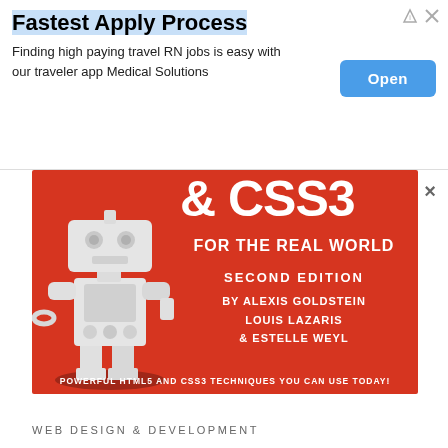Fastest Apply Process
Finding high paying travel RN jobs is easy with our traveler app Medical Solutions
Open
[Figure (illustration): Book cover for HTML5 & CSS3 For the Real World, Second Edition by Alexis Goldstein, Louis Lazaris & Estelle Weyl. Red background with a white 3D robot figure on the left side. Large white text shows '& CSS3' at top, 'FOR THE REAL WORLD', 'SECOND EDITION', author names, and bottom text 'POWERFUL HTML5 AND CSS3 TECHNIQUES YOU CAN USE TODAY!']
WEB DESIGN & DEVELOPMENT